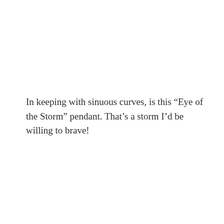In keeping with sinuous curves, is this “Eye of the Storm” pendant. That’s a storm I’d be willing to brave!